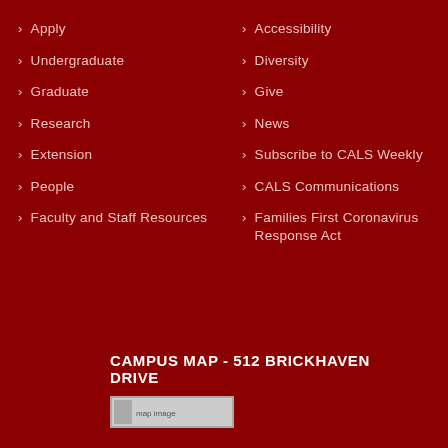Apply
Undergraduate
Graduate
Research
Extension
People
Faculty and Staff Resources
Accessibility
Diversity
Give
News
Subscribe to CALS Weekly
CALS Communications
Families First Coronavirus Response Act
CAMPUS MAP - 512 BRICKHAVEN DRIVE
[Figure (map): Campus map image placeholder]